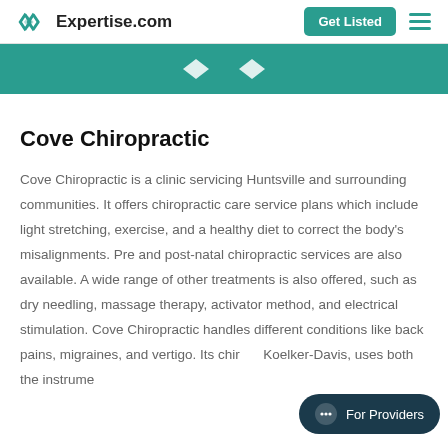Expertise.com — Get Listed
Cove Chiropractic
Cove Chiropractic is a clinic servicing Huntsville and surrounding communities. It offers chiropractic care service plans which include light stretching, exercise, and a healthy diet to correct the body's misalignments. Pre and post-natal chiropractic services are also available. A wide range of other treatments is also offered, such as dry needling, massage therapy, activator method, and electrical stimulation. Cove Chiropractic handles different conditions like back pains, migraines, and vertigo. Its chir... Koelker-Davis, uses both the instrume...